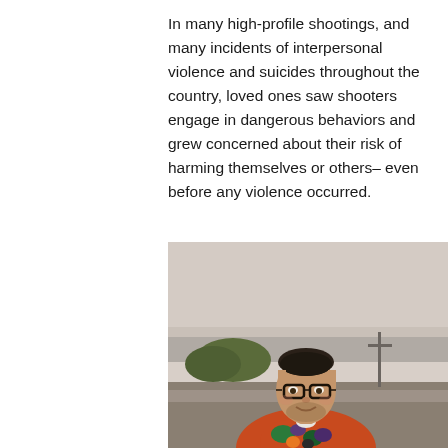In many high-profile shootings, and many incidents of interpersonal violence and suicides throughout the country, loved ones saw shooters engage in dangerous behaviors and grew concerned about their risk of harming themselves or others– even before any violence occurred.
[Figure (photo): A young man with dark hair and glasses, wearing a colorful patterned shirt, smiling outdoors with a hazy sky, water, trees, and a utility pole visible in the background.]